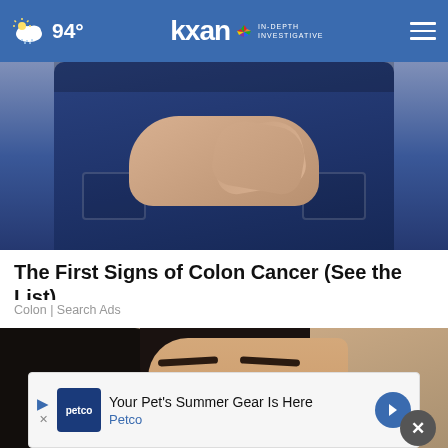94° | KXAN IN-DEPTH INVESTIGATIVE
[Figure (photo): Person in jeans with hands clasped behind their lower back, suggestive of colorectal/colon discomfort]
The First Signs of Colon Cancer (See the List)
Colon | Search Ads
[Figure (photo): Close-up of a woman's face with dark hair, eyes visible, partially obscured]
Your Pet's Summer Gear Is Here Petco